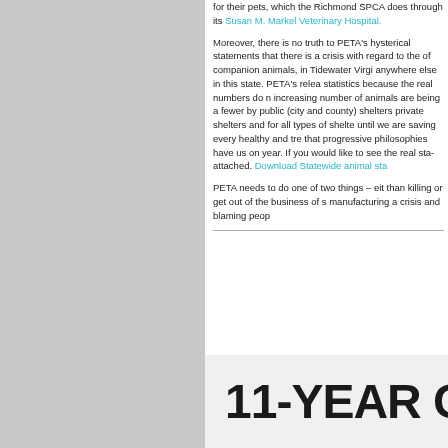for their pets, which the Richmond SPCA does through its Susan M. Markel Veterinary Hospital.
Moreover, there is no truth to PETA's hysterical statements that there is a crisis with regard to the overpopulation of companion animals, in Tidewater Virginia or anywhere else in this state. PETA's release manipulates statistics because the real numbers do not support PETA; an increasing number of animals are being adopted and far fewer by public (city and county) shelters or private shelters and for all types of shelters, every year, until we are saving every healthy and treatable animal, that progressive philosophies have us on track to save each year. If you would like to see the real statistics, they are attached. Download Statewide animal statistics.
PETA needs to do one of two things – either do better than killing or get out of the business of sheltering and stop manufacturing a crisis and blaming people.
[Figure (other): Partial image showing bold text '11-YEAR C' on a light beige/cream background, appears to be a chart or infographic title]